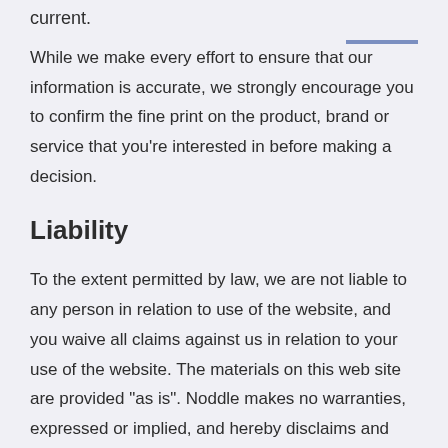current.
While we make every effort to ensure that our information is accurate, we strongly encourage you to confirm the fine print on the product, brand or service that you're interested in before making a decision.
Liability
To the extent permitted by law, we are not liable to any person in relation to use of the website, and you waive all claims against us in relation to your use of the website. The materials on this web site are provided “as is”. Noddle makes no warranties, expressed or implied, and hereby disclaims and negates all other warranties, including without limitation, implied warranties or conditions of merchantability, fitness for a particular purpose, or non-infringement of intellectual property or other violation of